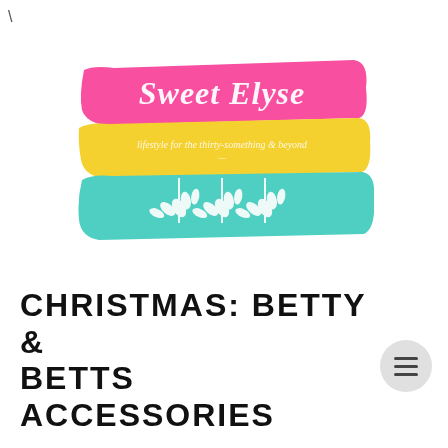[Figure (logo): Sweet Elyse blog logo with three horizontal brushstroke bands — pink on top with cursive 'Sweet Elyse' text, yellow in middle with italic tagline 'lifestyle for the thirty-something & beyond', and teal/turquoise on bottom with a decorative wheat/leaf motif in white.]
CHRISTMAS: BETTY & BETTS ACCESSORIES